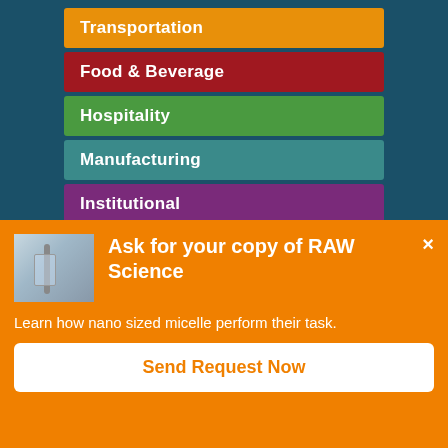Transportation
Food & Beverage
Hospitality
Manufacturing
Institutional
Aviation, Marine & Military
[Figure (screenshot): Lab equipment thumbnail image]
Ask for your copy of RAW Science
Learn how nano sized micelle perform their task.
Send Request Now